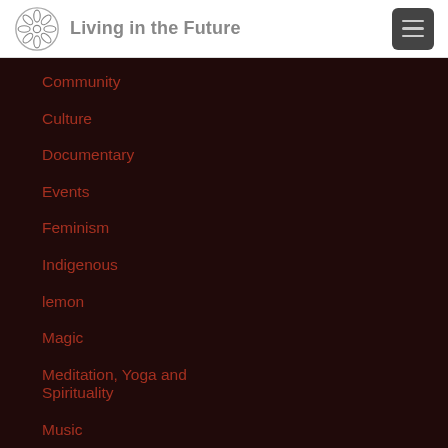Living in the Future
Community
Culture
Documentary
Events
Feminism
Indigenous
lemon
Magic
Meditation, Yoga and Spirituality
Music
Natural Building
Nature